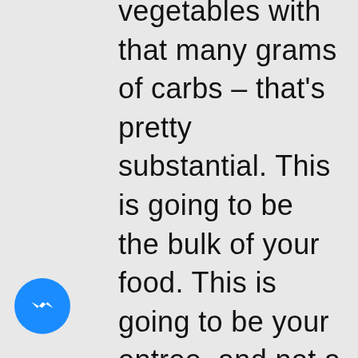vegetables with that many grams of carbs – that's pretty substantial. This is going to be the bulk of your food. This is going to be your entree, and not a meat entree. This is going to be your main source of energy and food, less so the proteins that we would normally have in a steak or
[Figure (logo): Facebook Messenger icon — blue circle with white lightning bolt chat bubble]